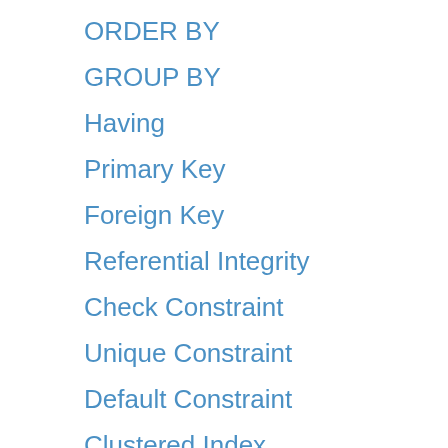ORDER BY
GROUP BY
Having
Primary Key
Foreign Key
Referential Integrity
Check Constraint
Unique Constraint
Default Constraint
Clustered Index
Non Clustered Index
Filtered Indexes
COALESCE Function